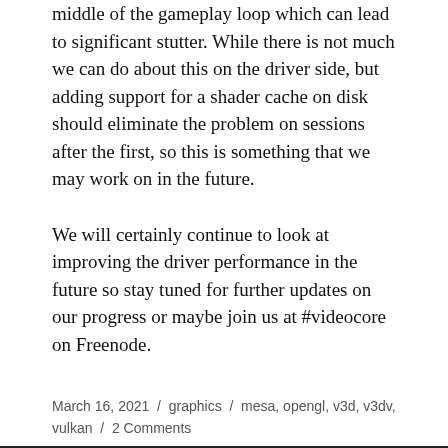middle of the gameplay loop which can lead to significant stutter. While there is not much we can do about this on the driver side, but adding support for a shader cache on disk should eliminate the problem on sessions after the first, so this is something that we may work on in the future.
We will certainly continue to look at improving the driver performance in the future so stay tuned for further updates on our progress or maybe join us at #videocore on Freenode.
March 16, 2021 / graphics / mesa, opengl, v3d, v3dv, vulkan / 2 Comments